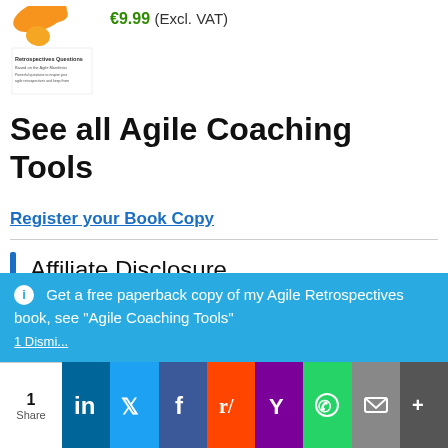[Figure (illustration): Book thumbnail for Retrospectives Questions - Based on the Agile Manifesto, with orange/yellow logo marks at top]
€9.99 (Excl. VAT)
See all Agile Coaching Tools
Register your Book Copy
Affiliate Disclosure
BenLinders.com is a participant in the Amazon Services LLC Associates Program, an affiliate advertising program designed to provide a means for sites to earn advertising fees by advertising and
Get a free paperback copy of my Agile Retrospectives book, see "Agile Coaching Tools"
1 Dismi... Share